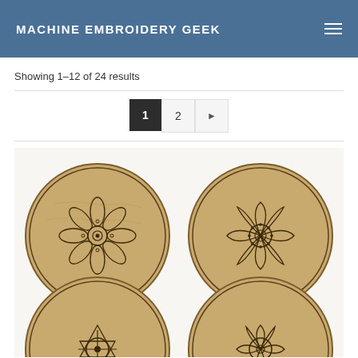MACHINE EMBROIDERY GEEK
Showing 1–12 of 24 results
[Figure (photo): Four round cork coasters with embroidered mandala/floral geometric patterns burned or stitched into the surface, arranged in a 2x2 grid]
Pagination: 1 2 ▶